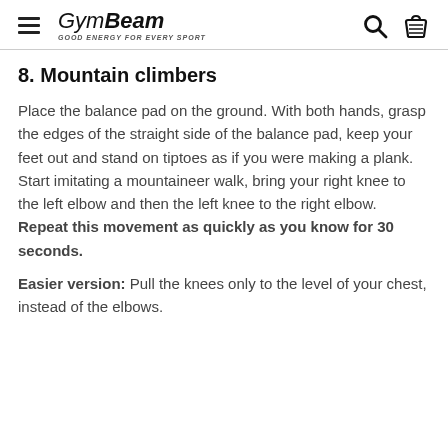GymBeam — GOOD ENERGY FOR EVERY SPORT
8. Mountain climbers
Place the balance pad on the ground. With both hands, grasp the edges of the straight side of the balance pad, keep your feet out and stand on tiptoes as if you were making a plank. Start imitating a mountaineer walk, bring your right knee to the left elbow and then the left knee to the right elbow. Repeat this movement as quickly as you know for 30 seconds.
Easier version: Pull the knees only to the level of your chest, instead of the elbows.